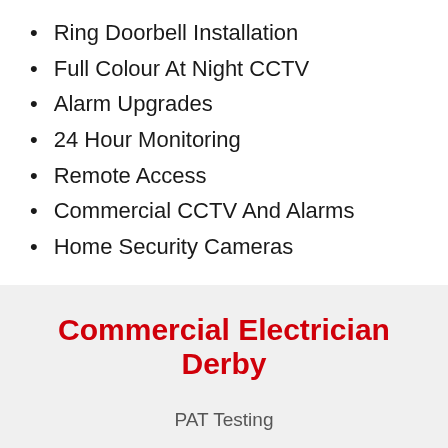Ring Doorbell Installation
Full Colour At Night CCTV
Alarm Upgrades
24 Hour Monitoring
Remote Access
Commercial CCTV And Alarms
Home Security Cameras
Commercial Electrician Derby
PAT Testing